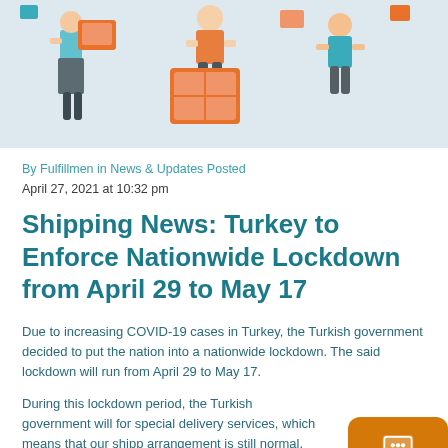[Figure (illustration): Cartoon illustration of people carrying packages and boxes, depicted in a flat design style with teal/orange color scheme, on a light blue-grey background.]
By Fulfillmen in News & Updates Posted
April 27, 2021 at 10:32 pm
Shipping News: Turkey to Enforce Nationwide Lockdown from April 29 to May 17
Due to increasing COVID-19 cases in Turkey, the Turkish government decided to put the nation into a nationwide lockdown. The said lockdown will run from April 29 to May 17.
During this lockdown period, the Turkish government will for special delivery services, which means that our shipp arrangement is still normal. However, due to the lockdo please expect that deliveries could be delayed.